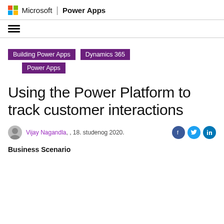Microsoft | Power Apps
[Figure (other): Hamburger menu icon (three horizontal lines)]
Building Power Apps
Dynamics 365
Power Apps
Using the Power Platform to track customer interactions
Vijay Nagandla, , 18. studenog 2020.
Business Scenario